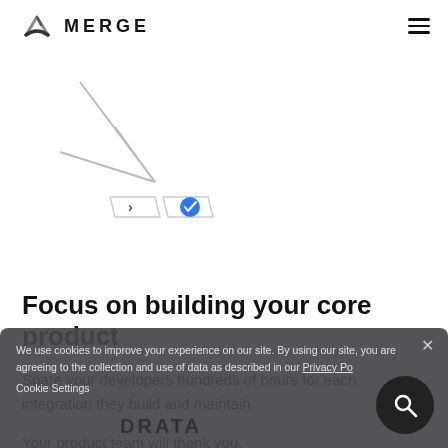[Figure (logo): Merge logo with stylized arrow/chevron icon and MERGE text]
[Figure (illustration): Navigation diagram with colored integration dots and branching lines connecting to merge icon with blue checkmark]
Focus on building your core product
Spare your developers hundreds of hours for each integration they build and maintain.
Your product team will thank you.
We use cookies to improve your experience on our site. By using our site, you are agreeing to the collection and use of data as described in our Privacy Po...
Cookie Settings
[Figure (logo): Drata logo in dark text]